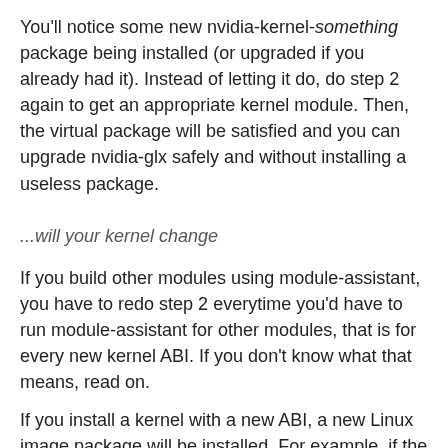You'll notice some new nvidia-kernel-something package being installed (or upgraded if you already had it). Instead of letting it do, do step 2 again to get an appropriate kernel module. Then, the virtual package will be satisfied and you can upgrade nvidia-glx safely and without installing a useless package.
...will your kernel change
If you build other modules using module-assistant, you have to redo step 2 everytime you'd have to run module-assistant for other modules, that is for every new kernel ABI. If you don't know what that means, read on.
If you install a kernel with a new ABI, a new Linux image package will be installed. For example, if the Linux 2.6.18 gets a new ABI and you currently use linux-image-2.6.18-4-486, you will have to install the